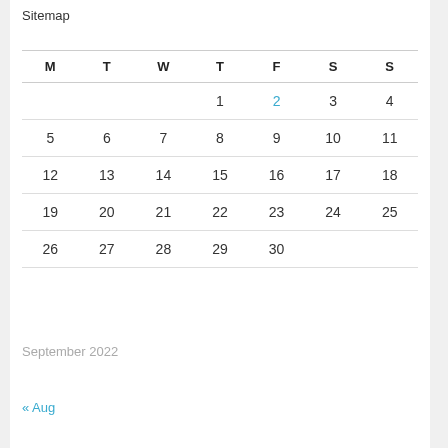Sitemap
| M | T | W | T | F | S | S |
| --- | --- | --- | --- | --- | --- | --- |
|  |  |  | 1 | 2 | 3 | 4 |
| 5 | 6 | 7 | 8 | 9 | 10 | 11 |
| 12 | 13 | 14 | 15 | 16 | 17 | 18 |
| 19 | 20 | 21 | 22 | 23 | 24 | 25 |
| 26 | 27 | 28 | 29 | 30 |  |  |
September 2022
« Aug